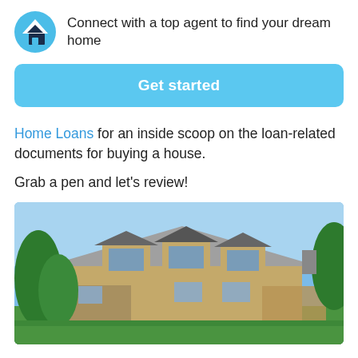[Figure (logo): Real estate app logo: blue circle with white chevron and house icon]
Connect with a top agent to find your dream home
Get started
Home Loans for an inside scoop on the loan-related documents for buying a house.
Grab a pen and let's review!
[Figure (photo): Large house with multiple dormers and a steep roof, surrounded by green trees and lawn under a blue sky.]